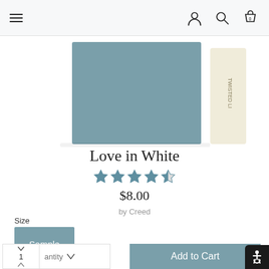Navigation bar with hamburger menu, user icon, search icon, cart (0)
[Figure (photo): Product image showing a blue-slate rectangular box/card and a partial view of a tall cream-colored bottle labeled TWISTED LI... on a white background]
Love in White
[Figure (other): Star rating: 4 full stars and 1 half star (approximately 4.5 out of 5)]
$8.00
by Creed
Size
Sample
antity
1
Add to Cart